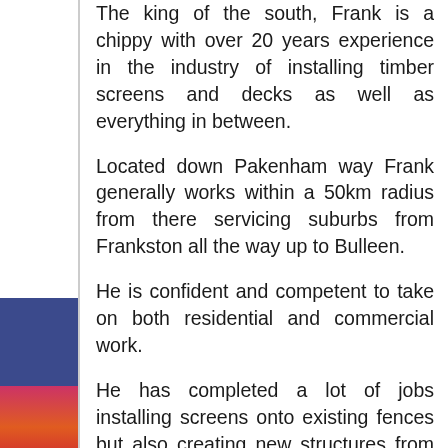The king of the south, Frank is a chippy with over 20 years experience in the industry of installing timber screens and decks as well as everything in between.
Located down Pakenham way Frank generally works within a 50km radius from there servicing suburbs from Frankston all the way up to Bulleen.
He is confident and competent to take on both residential and commercial work.
He has completed a lot of jobs installing screens onto existing fences but also creating new structures from scratch to then install any type of screen onto them.
Completing fence extension installs when the fence has capping and exposed posts as well as entry gates, front fences, batten screened ceilings have all been jobs previously completed with